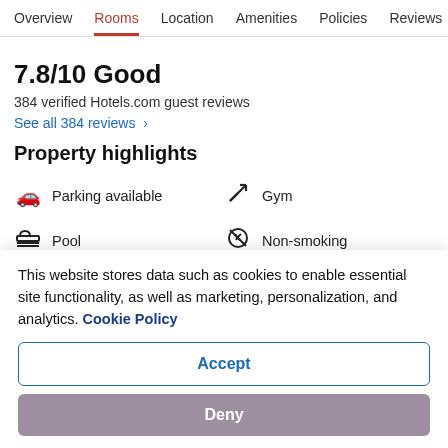Overview | Rooms | Location | Amenities | Policies | Reviews
7.8/10 Good
384 verified Hotels.com guest reviews
See all 384 reviews >
Property highlights
Parking available
Gym
Pool
Non-smoking
Free WiFi
Air conditioning
This website stores data such as cookies to enable essential site functionality, as well as marketing, personalization, and analytics. Cookie Policy
Accept
Deny